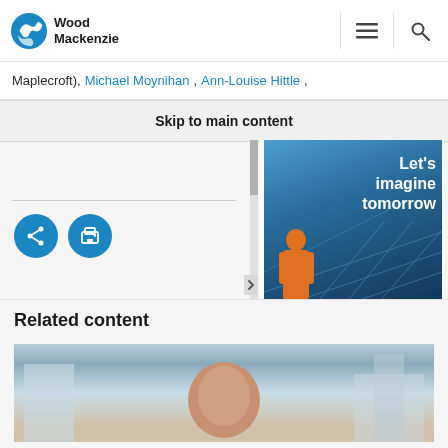Wood Mackenzie
Maplecroft), Michael Moynihan, Ann-Louise Hittle,
Skip to main content
[Figure (illustration): Two circular blue social sharing buttons: a share icon and a print icon]
[Figure (illustration): Wood Mackenzie advertisement banner. Text reads: Let's imagine tomorrow. Shows a worker on solar panels. Wood Mackenzie logo with Act now button.]
Related content
[Figure (photo): Photo of a bald man's head, upper portion visible, with light blue/grey background suggesting an office or urban environment]